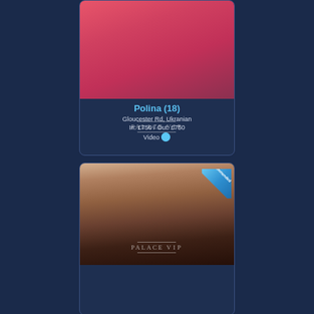[Figure (photo): Photo of Polina, young woman in pink top with dark hair, Palace VIP watermark]
Polina (18)
Gloucester Rd, Ukranian
In: £750 / Out: £750
Video
[Figure (photo): Photo of a young brunette woman, Palace VIP watermark, Recommended ribbon badge in top right corner]